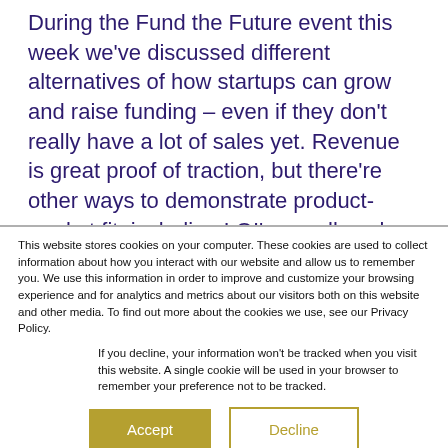During the Fund the Future event this week we've discussed different alternatives of how startups can grow and raise funding – even if they don't really have a lot of sales yet. Revenue is great proof of traction, but there're other ways to demonstrate product-market fit, including LOI's, small-scale pilots and experiments and selling the
This website stores cookies on your computer. These cookies are used to collect information about how you interact with our website and allow us to remember you. We use this information in order to improve and customize your browsing experience and for analytics and metrics about our visitors both on this website and other media. To find out more about the cookies we use, see our Privacy Policy.
If you decline, your information won't be tracked when you visit this website. A single cookie will be used in your browser to remember your preference not to be tracked.